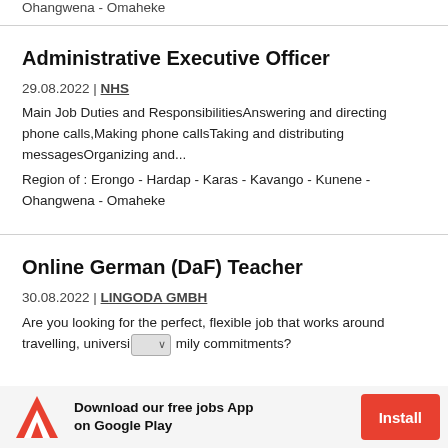Ohangwena - Omaheke
Administrative Executive Officer
29.08.2022 | NHS
Main Job Duties and ResponsibilitiesAnswering and directing phone calls,Making phone callsTaking and distributing messagesOrganizing and...
Region of : Erongo - Hardap - Karas - Kavango - Kunene - Ohangwena - Omaheke
Online German (DaF) Teacher
30.08.2022 | LINGODA GMBH
Are you looking for the perfect, flexible job that works around travelling, universi… mily commitments?
Download our free jobs App on Google Play